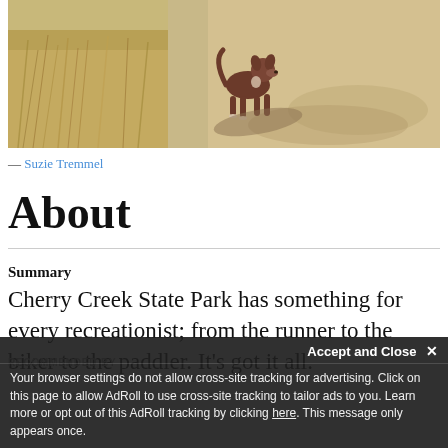[Figure (photo): A brown dog standing on a dirt path with dry golden grass in the background, casting a shadow. Photo credited to Suzie Tremmel.]
— Suzie Tremmel
About
Summary
Cherry Creek State Park has something for every recreationist; from the runner to the biker to the paddler. It's got it all.
RECOMMENDED BY
Accept and Close ✕
Your browser settings do not allow cross-site tracking for advertising. Click on this page to allow AdRoll to use cross-site tracking to tailor ads to you. Learn more or opt out of this AdRoll tracking by clicking here. This message only appears once.